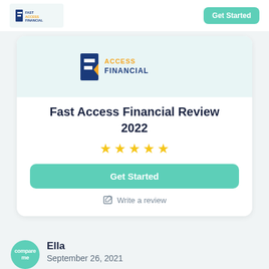[Figure (logo): Fast Access Financial logo in top navigation bar]
Get Started
[Figure (logo): Fast Access Financial logo in card header]
Fast Access Financial Review 2022
[Figure (other): Five gold star rating]
Get Started
Write a review
Ella
September 26, 2021